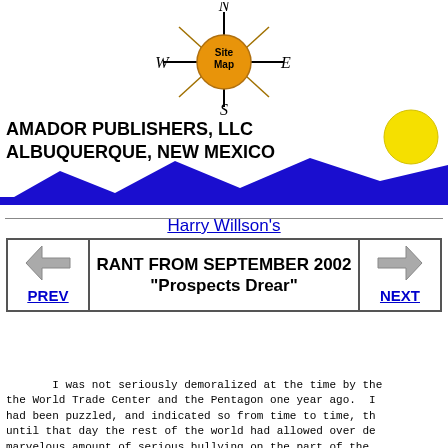[Figure (logo): Compass rose logo with orange circle center labeled 'Site Map', N/S/E/W directions in italic serif font, compass lines extending outward]
AMADOR PUBLISHERS, LLC
ALBUQUERQUE, NEW MEXICO
[Figure (illustration): Yellow sun circle on right side, blue mountain silhouette spanning full width]
Harry Willson's
| PREV | RANT FROM SEPTEMBER 2002 "Prospects Drear" | NEXT |
I was not seriously demoralized at the time by the the World Trade Center and the Pentagon one year ago.  I had been puzzled, and indicated so from time to time, th until that day the rest of the world had allowed over de marvelous amount of serious bullying on the part of the